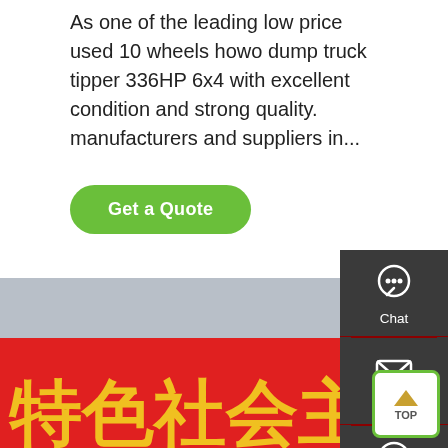As one of the leading low price used 10 wheels howo dump truck tipper 336HP 6x4 with excellent condition and strong quality. manufacturers and suppliers in...
[Figure (other): Green rounded rectangle button labeled 'Get a Quote']
[Figure (photo): White HOWO dump truck/tractor unit parked in front of a red banner with Chinese characters reading special socialist... and Sinotruk intelligent heavy. Background includes trees and a grey sky.]
[Figure (infographic): Dark grey sidebar with three icons: Chat (headset icon), Email (envelope icon), Contact (chat bubbles icon), separated by dark red dividers. Green 'TOP' button with upward arrow at bottom right.]